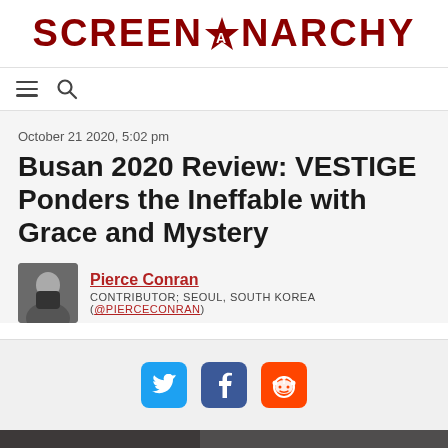SCREENANARCHY
October 21 2020, 5:02 pm
Busan 2020 Review: VESTIGE Ponders the Ineffable with Grace and Mystery
Pierce Conran
CONTRIBUTOR; SEOUL, SOUTH KOREA (@PIERCECONRAN)
[Figure (infographic): Social share buttons: Twitter (blue), Facebook (blue), Reddit (orange)]
[Figure (photo): Partial dark/grey article header image at bottom of page]